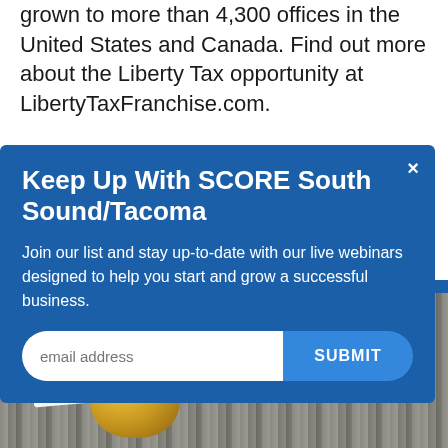grown to more than 4,300 offices in the United States and Canada. Find out more about the Liberty Tax opportunity at LibertyTaxFranchise.com.
More from Liberty Tax
[Figure (screenshot): Modal popup overlay with blue background: 'Keep Up With SCORE South Sound/Tacoma' - email signup form with submit button. Background shows partial blue content block with 'ess hub >' text visible.]
[Figure (photo): Photo of a retirement card with cursive 'Retirement' text next to a golden egg on a wooden surface.]